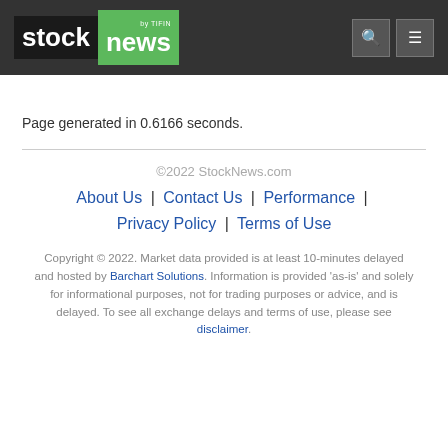stock news by TIFIN
Page generated in 0.6166 seconds.
©2022 StockNews.com | About Us | Contact Us | Performance | Privacy Policy | Terms of Use | Copyright © 2022. Market data provided is at least 10-minutes delayed and hosted by Barchart Solutions. Information is provided 'as-is' and solely for informational purposes, not for trading purposes or advice, and is delayed. To see all exchange delays and terms of use, please see disclaimer.